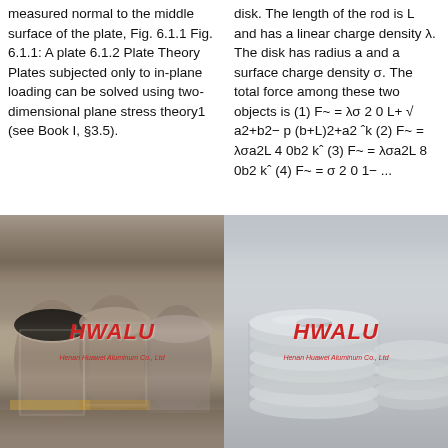measured normal to the middle surface of the plate, Fig. 6.1.1 Fig. 6.1.1: A plate 6.1.2 Plate Theory Plates subjected only to in-plane loading can be solved using two-dimensional plane stress theory1 (see Book I, §3.5).
disk. The length of the rod is L and has a linear charge density λ. The disk has radius a and a surface charge density σ. The total force among these two objects is (1) F~ = λσ 2 0 L+ √ a2+b2− p (b+L)2+a2 ˆk (2) F~ = λσa2L 4 0b2 kˆ (3) F~ = λσa2L 8 0b2 kˆ (4) F~ = σ 2 0 1− ...
[Figure (photo): Warehouse photo showing rolls/coils of aluminum material stacked on pallets, with HWALU (Henan Huawei Aluminum Co., Ltd) watermark overlay]
[Figure (photo): Photo showing stacked aluminum discs/circles in a warehouse setting, with HWALU (Henan Huawei Aluminum Co., Ltd) watermark overlay]